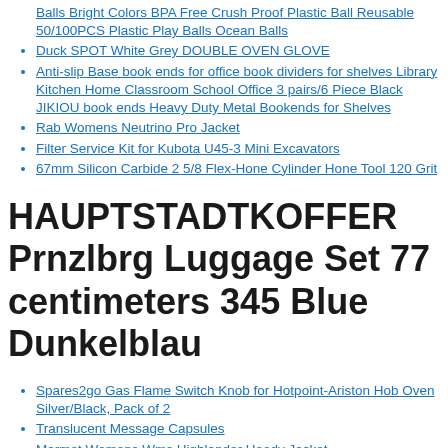Balls Bright Colors BPA Free Crush Proof Plastic Ball Reusable 50/100PCS Plastic Play Balls Ocean Balls
Duck SPOT White Grey DOUBLE OVEN GLOVE
Anti-slip Base book ends for office book dividers for shelves Library Kitchen Home Classroom School Office 3 pairs/6 Piece Black JIKIOU book ends Heavy Duty Metal Bookends for Shelves
Rab Womens Neutrino Pro Jacket
Filter Service Kit for Kubota U45-3 Mini Excavators
67mm Silicon Carbide 2 5/8 Flex-Hone Cylinder Hone Tool 120 Grit
HAUPTSTADTKOFFER Prnzlbrg Luggage Set 77 centimeters 345 Blue Dunkelblau
Spares2go Gas Flame Switch Knob for Hotpoint-Ariston Hob Oven Silver/Black, Pack of 2
Translucent Message Capsules
Marmot Womens Wms Highlander Hoody Jacket
ThreeH Free Standing Boxing Ball Adjustable Boxing Bag